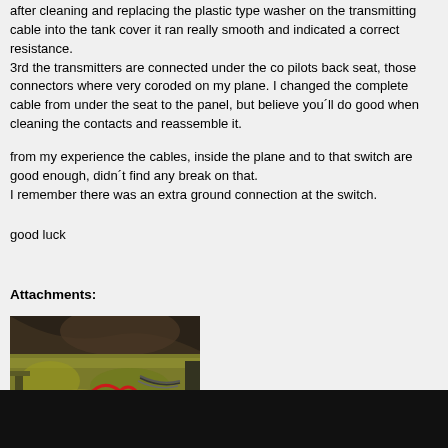after cleaning and replacing the plastic type washer on the transmitting cable into the tank cover it ran really smooth and indicated a correct resistance.
3rd the transmitters are connected under the co pilots back seat, those connectors where very coroded on my plane. I changed the complete cable from under the seat to the panel, but believe you´ll do good when cleaning the contacts and reassemble it.
from my experience the cables, inside the plane and to that switch are good enough, didn´t find any break on that.
I remember there was an extra ground connection at the switch.
good luck
Attachments:
[Figure (photo): Photograph of aircraft fuel tank transmitter connector area showing corroded metal components, wiring, and a red wiring loop visible under the co-pilot back seat area.]